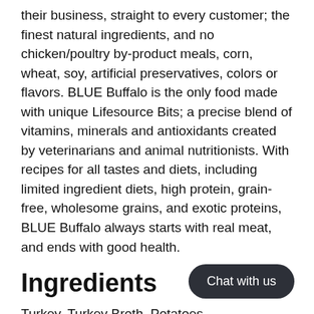their business, straight to every customer; the finest natural ingredients, and no chicken/poultry by-product meals, corn, wheat, soy, artificial preservatives, colors or flavors. BLUE Buffalo is the only food made with unique Lifesource Bits; a precise blend of vitamins, minerals and antioxidants created by veterinarians and animal nutritionists. With recipes for all tastes and diets, including limited ingredient diets, high protein, grain-free, wholesome grains, and exotic proteins, BLUE Buffalo always starts with real meat, and ends with good health.
Ingredients
Turkey, Turkey Broth, Potatoes, Protein, Fish Oil (source of Omega 3 Fatty Acids), Pumpkin, Guar Gum, Potassium Chloride, Salt,